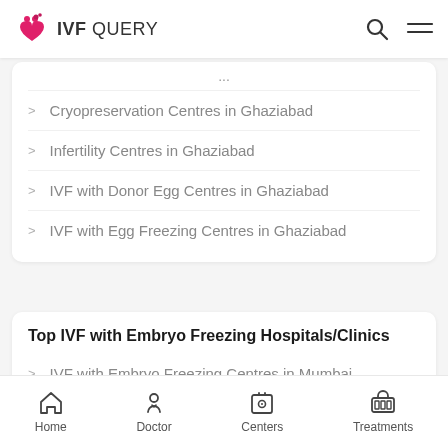IVF QUERY
Cryopreservation Centres in Ghaziabad
Infertility Centres in Ghaziabad
IVF with Donor Egg Centres in Ghaziabad
IVF with Egg Freezing Centres in Ghaziabad
Top IVF with Embryo Freezing Hospitals/Clinics
IVF with Embryo Freezing Centres in Mumbai
IVF with Embryo Freezing Centres in Gurgaon
IVF with Embryo Freezing Centres in Mohali
IVF with Embryo Freezing Centres in Ludhiana
Home | Doctor | Centers | Treatments